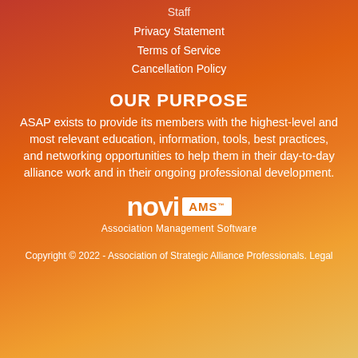Staff
Privacy Statement
Terms of Service
Cancellation Policy
OUR PURPOSE
ASAP exists to provide its members with the highest-level and most relevant education, information, tools, best practices, and networking opportunities to help them in their day-to-day alliance work and in their ongoing professional development.
[Figure (logo): Novi AMS logo - white text 'novi' with 'AMS' in an orange-on-white badge, followed by trademark symbol]
Association Management Software
Copyright © 2022 - Association of Strategic Alliance Professionals. Legal